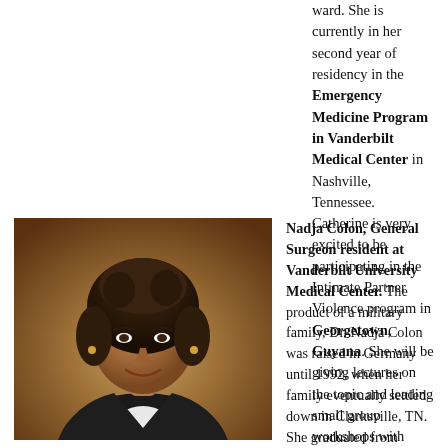ward. She is currently in her second year of residency in the Emergency Medicine Program in Vanderbilt Medical Center in Nashville, Tennessee. Catherine is very excited to be participating in the Intimate Partner Violence program in Georgetown, Guyana. She will be giving lectures on the topic and leading small group workshops with local healthcare workers.
[Figure (photo): Headshot photograph of Nadja Colon, a woman with curly dark hair, smiling, wearing a dark jacket and white shirt, against a warm brown background.]
Nadja Colon, General Surgeon resident at Vanderbilt University Medical Center. The product of a military family, Dr. Nadja Colon was raised in Germany until 1992, when her family eventually settled down in Clarksville, TN. She graduated from Northeast High School at the top of her class with plans to pursue premedical studies. As such, she attended Vanderbilt University from 2000-2004, graduating cum